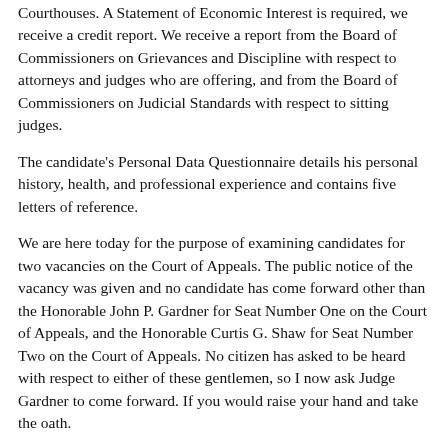Courthouses. A Statement of Economic Interest is required, we receive a credit report. We receive a report from the Board of Commissioners on Grievances and Discipline with respect to attorneys and judges who are offering, and from the Board of Commissioners on Judicial Standards with respect to sitting judges.
The candidate's Personal Data Questionnaire details his personal history, health, and professional experience and contains five letters of reference.
We are here today for the purpose of examining candidates for two vacancies on the Court of Appeals. The public notice of the vacancy was given and no candidate has come forward other than the Honorable John P. Gardner for Seat Number One on the Court of Appeals, and the Honorable Curtis G. Shaw for Seat Number Two on the Court of Appeals. No citizen has asked to be heard with respect to either of these gentlemen, so I now ask Judge Gardner to come forward. If you would raise your hand and take the oath.
John P. Gardner, candidate for Seat Number One on the Court of Appeals, was duly sworn by Senator Smith.
Senator Smith: I might say for the record also that these terms are for six-year terms which begin July 1, 1987, and run through June